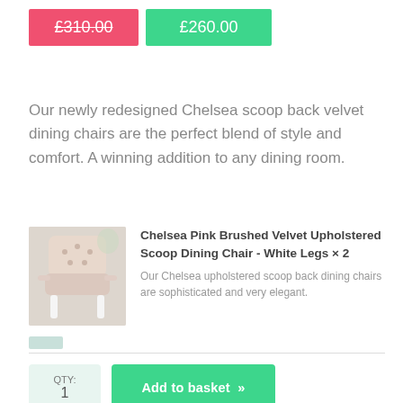£310.00 (strikethrough, old price) | £260.00 (new price)
Our newly redesigned Chelsea scoop back velvet dining chairs are the perfect blend of style and comfort. A winning addition to any dining room.
[Figure (photo): Product photo of a pink velvet upholstered scoop dining chair with white legs]
Chelsea Pink Brushed Velvet Upholstered Scoop Dining Chair - White Legs × 2
Our Chelsea upholstered scoop back dining chairs are sophisticated and very elegant.
QTY: 1
Add to basket »